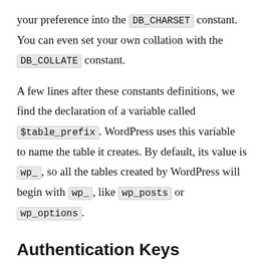your preference into the DB_CHARSET constant. You can even set your own collation with the DB_COLLATE constant.
A few lines after these constants definitions, we find the declaration of a variable called $table_prefix. WordPress uses this variable to name the table it creates. By default, its value is wp_, so all the tables created by WordPress will begin with wp_, like wp_posts or wp_options.
Authentication Keys